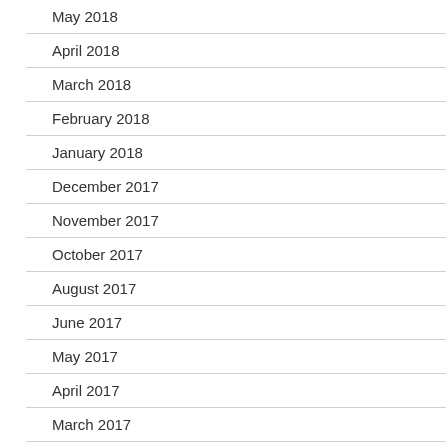May 2018
April 2018
March 2018
February 2018
January 2018
December 2017
November 2017
October 2017
August 2017
June 2017
May 2017
April 2017
March 2017